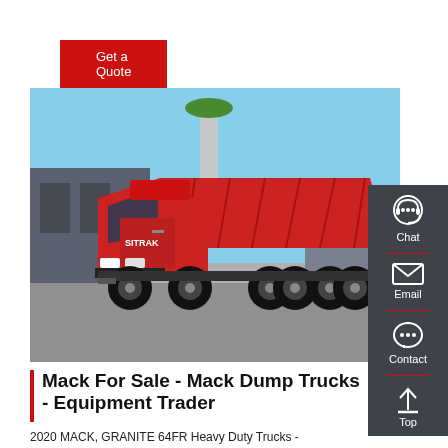[Figure (other): Red 'Get a Quote' button on white background]
[Figure (photo): A red SITRAK heavy-duty dump truck parked in an industrial yard with a blue sky background and industrial buildings visible.]
Mack For Sale - Mack Dump Trucks - Equipment Trader
2020 MACK, GRANITE 64FR Heavy Duty Trucks -